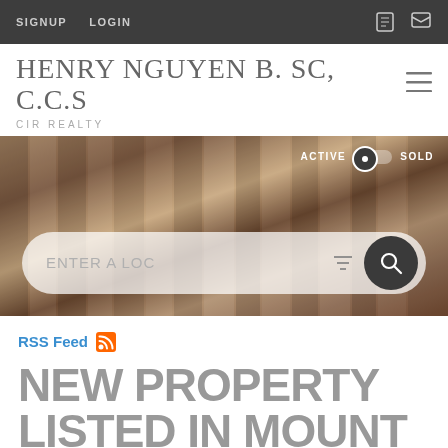SIGNUP   LOGIN
HENRY NGUYEN B. SC, C.C.S
CIR REALTY
[Figure (screenshot): Hero background photo of wooden door/slats with a search bar overlay showing 'ENTER A LOC' placeholder, filter icon, and search button. Active/Sold toggle in top right corner.]
RSS Feed
NEW PROPERTY LISTED IN MOUNT PLEASANT